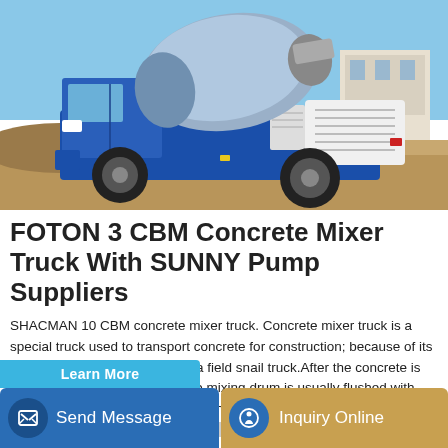[Figure (photo): A blue FOTON self-loading concrete mixer truck on a construction site with sandy ground and buildings in background, blue sky above.]
FOTON 3 CBM Concrete Mixer Truck With SUNNY Pump Suppliers
SHACMAN 10 CBM concrete mixer truck. Concrete mixer truck is a special truck used to transport concrete for construction; because of its shape, it is often referred to as a field snail truck.After the concrete is transported, the inner part of the mixing drum is usually flushed with water to prevent the hardening of the concrete from occupying space, so that the mixing of the mixing drum